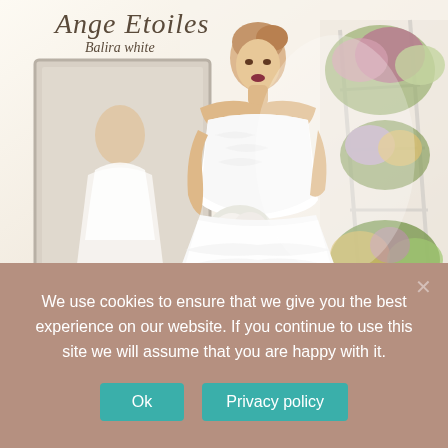[Figure (photo): A bride in a white strapless feathered wedding dress holding a bouquet of white flowers, standing in a bright room with floral arrangements on a white ladder shelf and a mirror reflection to the left. Branding text 'Ange Etoiles' and 'Balira white' overlaid at top left.]
Ange Etoiles
Balira white
We use cookies to ensure that we give you the best experience on our website. If you continue to use this site we will assume that you are happy with it.